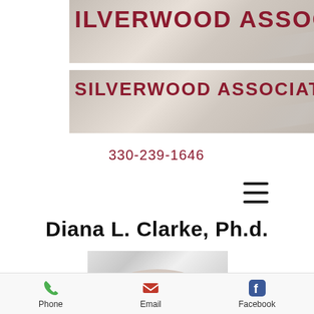[Figure (screenshot): Silverwood Associates logo banner - partial text showing 'ILVERWOOD ASSOCIATE' in dark red/maroon on light background with diagonal silver stripe]
[Figure (screenshot): Silverwood Associates logo banner - full text showing 'SILVERWOOD ASSOCIATES' in dark red/maroon on light background with diagonal silver stripe]
330-239-1646
[Figure (other): Hamburger menu icon (three horizontal lines)]
Diana L. Clarke, Ph.d.
[Figure (photo): Portrait photo of Diana L. Clarke - woman with long white/grey hair, top portion of face visible]
Phone   Email   Facebook